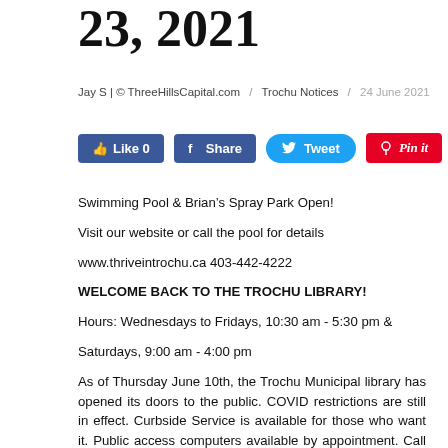23, 2021
Jay S | © ThreeHillsCapital.com / Trochu Notices / 24 June 2021
[Figure (other): Social media buttons: Like 0, Share, Tweet, Pin it]
Swimming Pool & Brian's Spray Park Open!
Visit our website or call the pool for details
www.thriveintrochu.ca 403-442-4222
WELCOME BACK TO THE TROCHU LIBRARY!
Hours: Wednesdays to Fridays, 10:30 am - 5:30 pm &
Saturdays, 9:00 am - 4:00 pm
As of Thursday June 10th, the Trochu Municipal library has opened its doors to the public. COVID restrictions are still in effect. Curbside Service is available for those who want it. Public access computers available by appointment. Call 403-442-2458 or e-mail atrmlibrary@marigold.ab.ca if you have any questions.
Did you know you can donate your empty bottles to the Trochu